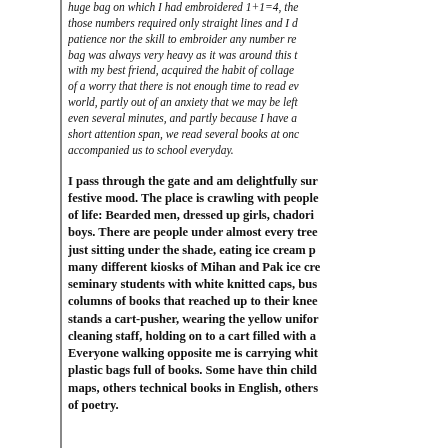huge bag on which I had embroidered 1+1=4, those numbers required only straight lines and I d patience nor the skill to embroider any number re bag was always very heavy as it was around this t with my best friend, acquired the habit of collage of a worry that there is not enough time to read ev world, partly out of an anxiety that we may be left even several minutes, and partly because I have a short attention span, we read several books at once accompanied us to school everyday.
I pass through the gate and am delightfully sur festive mood. The place is crawling with people of life: Bearded men, dressed up girls, chadori boys. There are people under almost every tree just sitting under the shade, eating ice cream p many different kiosks of Mihan and Pak ice cr seminary students with white knitted caps, bus columns of books that reached up to their knee stands a cart-pusher, wearing the yellow unifor cleaning staff, holding on to a cart filled with a Everyone walking opposite me is carrying whit plastic bags full of books. Some have thin child maps, others technical books in English, others of poetry.